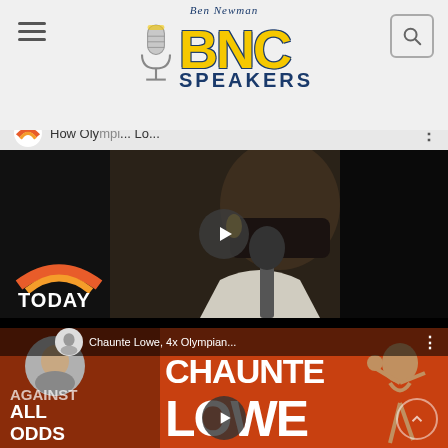[Figure (logo): BNC Speakers logo with microphone, Ben Newman text above, BNC in large yellow letters, SPEAKERS in navy blue below]
[Figure (screenshot): Video thumbnail of a woman (Chaunte Lowe) wearing a mask, from the TODAY show, with a play button overlay. Title reads: How Oly... Lo...]
[Figure (screenshot): Video thumbnail with orange background showing text: AGAINST ALL ODDS, CHAUNTE LOWE. Small avatar of a man on left. Title: Chaunte Lowe, 4x Olympian... with play button overlay and scroll-up button]